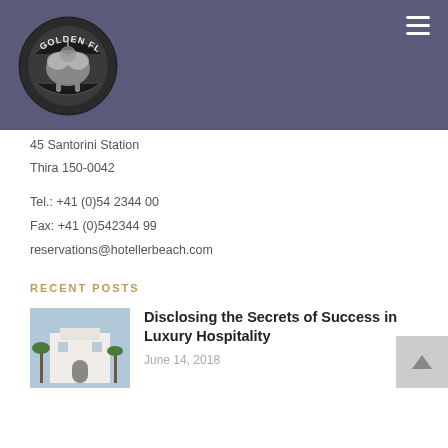[Figure (logo): Golden Fleece Hotel circular logo with an illustration of a fleece/animal on a dark background with text around the border]
45 Santorini Station
Thira 150-0042
Tel.: +41 (0)54 2344 00
Fax: +41 (0)542344 99
reservations@hotellerbeach.com
RECENT POSTS
[Figure (photo): Photo of a white Mediterranean-style building with palm trees]
Disclosing the Secrets of Success in Luxury Hospitality
June 14, 2018